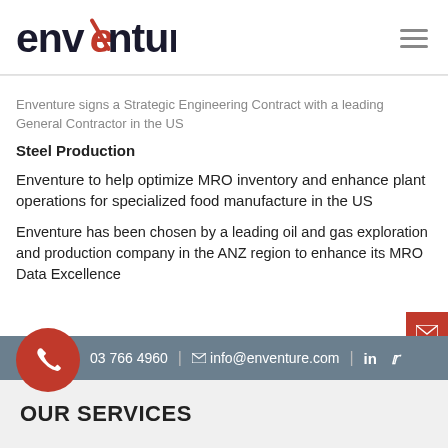[Figure (logo): Enventure company logo with red stylized N]
Enventure signs a Strategic Engineering Contract with a leading General Contractor in the US
Steel Production
Enventure to help optimize MRO inventory and enhance plant operations for specialized food manufacture in the US
Enventure has been chosen by a leading oil and gas exploration and production company in the ANZ region to enhance its MRO Data Excellence
03 766 4960 | info@enventure.com | LinkedIn | Twitter
OUR SERVICES